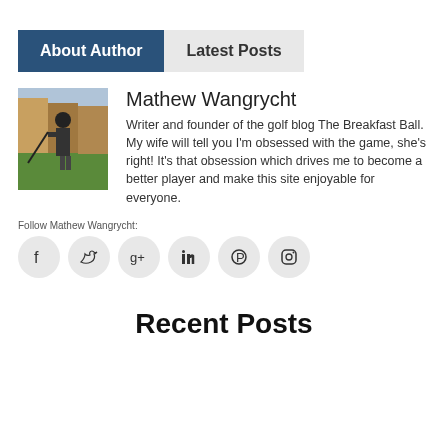About Author | Latest Posts
Mathew Wangrycht
Writer and founder of the golf blog The Breakfast Ball. My wife will tell you I'm obsessed with the game, she's right! It's that obsession which drives me to become a better player and make this site enjoyable for everyone.
Follow Mathew Wangrycht:
[Figure (other): Social media icons: Facebook, Twitter, Google+, LinkedIn, Pinterest, Instagram]
Recent Posts